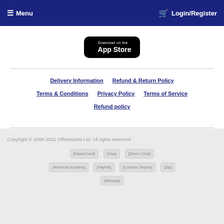☰ Menu   🛒 Login/Register
[Figure (screenshot): App Store download button on white background]
Delivery Information
Refund & Return Policy
Terms & Conditions
Privacy Policy
Terms of Service
Refund policy
Copyright © 2008-2021 Officeworks Ltd. All rights reserved.
[Figure (logo): Payment method logos: MasterCard, Visa, Diner's Club, American Express, PayPal, Comodo Secure, Zip, Afterpay]